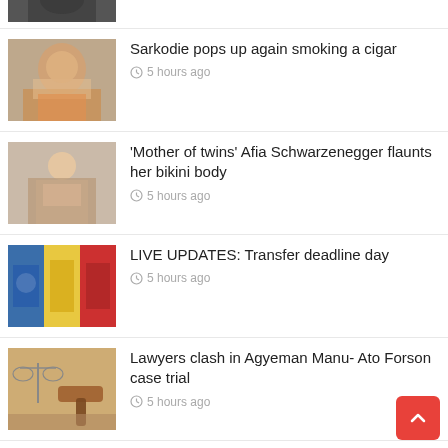[Figure (photo): Partial top image of a person in formal wear, cropped]
Sarkodie pops up again smoking a cigar
5 hours ago
'Mother of twins' Afia Schwarzenegger flaunts her bikini body
5 hours ago
LIVE UPDATES: Transfer deadline day
5 hours ago
Lawyers clash in Agyeman Manu- Ato Forson case trial
5 hours ago
GH¢1.1m paid as salaries to 3 ghost names at Finance Ministry – Auditor General
5 hours ago
Ikpeazu commits to increase productivity to Abia